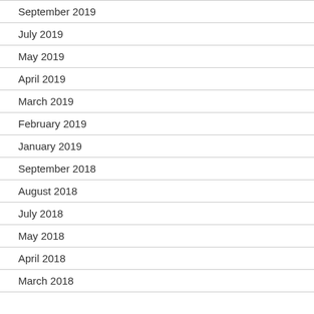September 2019
July 2019
May 2019
April 2019
March 2019
February 2019
January 2019
September 2018
August 2018
July 2018
May 2018
April 2018
March 2018